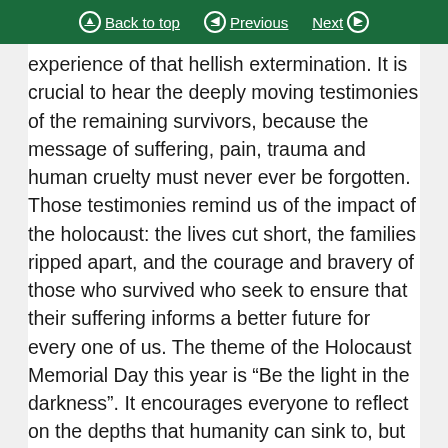Back to top  Previous  Next
experience of that hellish extermination. It is crucial to hear the deeply moving testimonies of the remaining survivors, because the message of suffering, pain, trauma and human cruelty must never ever be forgotten. Those testimonies remind us of the impact of the holocaust: the lives cut short, the families ripped apart, and the courage and bravery of those who survived who seek to ensure that their suffering informs a better future for every one of us. The theme of the Holocaust Memorial Day this year is “Be the light in the darkness”. It encourages everyone to reflect on the depths that humanity can sink to, but also the ways in which individuals and communities resisted that darkness to be the light before, during and after the genocide.